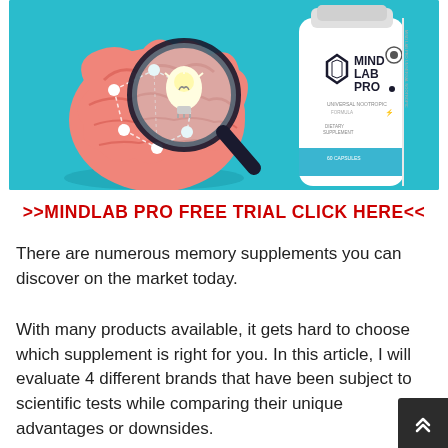[Figure (illustration): Hero banner image on teal/cyan background. Left side: cartoon pink brain with a magnifying glass and lightbulb overlay, connected by dashed network lines with white nodes. Right side: Mind Lab Pro supplement bottle (white bottle with blue stripe and hexagon logo).]
>>MINDLAB PRO FREE TRIAL CLICK HERE<<
There are numerous memory supplements you can discover on the market today.
With many products available, it gets hard to choose which supplement is right for you. In this article, I will evaluate 4 different brands that have been subject to scientific tests while comparing their unique advantages or downsides.